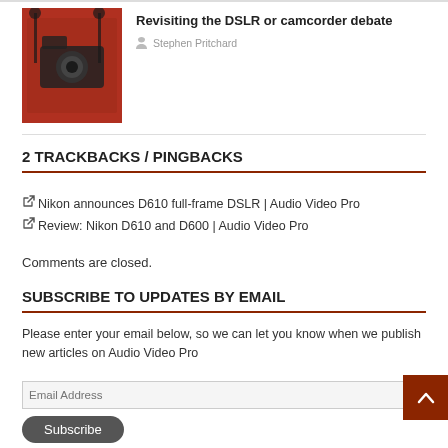[Figure (photo): Thumbnail image of camera equipment on a red background]
Revisiting the DSLR or camcorder debate
Stephen Pritchard
2 TRACKBACKS / PINGBACKS
Nikon announces D610 full-frame DSLR | Audio Video Pro
Review: Nikon D610 and D600 | Audio Video Pro
Comments are closed.
SUBSCRIBE TO UPDATES BY EMAIL
Please enter your email below, so we can let you know when we publish new articles on Audio Video Pro